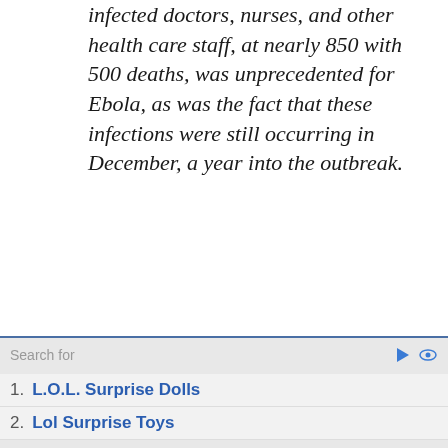infected doctors, nurses, and other health care staff, at nearly 850 with 500 deaths, was unprecedented for Ebola, as was the fact that these infections were still occurring in December, a year into the outbreak.
Search for
1. L.O.L. Surprise Dolls
2. Lol Surprise Toys